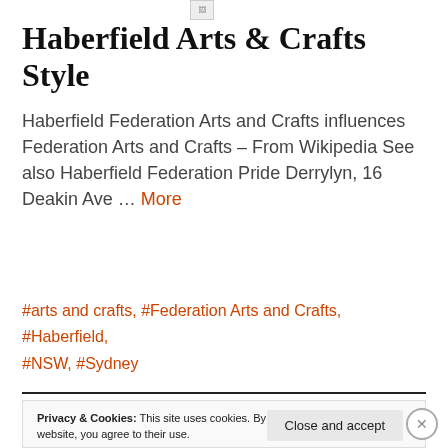[Figure (photo): Broken image icon placeholder at top of page]
Haberfield Arts & Crafts Style
Haberfield Federation Arts and Crafts influences Federation Arts and Crafts – From Wikipedia See also Haberfield Federation Pride Derrylyn, 16 Deakin Ave … More
#arts and crafts, #Federation Arts and Crafts, #Haberfield, #NSW, #Sydney
Privacy & Cookies: This site uses cookies. By continuing to use this website, you agree to their use. To find out more, including how to control cookies, see here: Cookie Policy